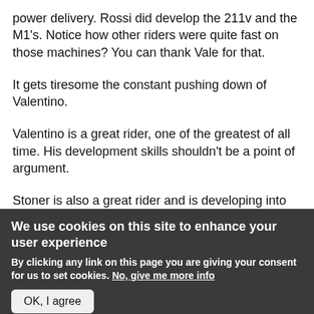power delivery. Rossi did develop the 211v and the M1's. Notice how other riders were quite fast on those machines? You can thank Vale for that.
It gets tiresome the constant pushing down of Valentino.
Valentino is a great rider, one of the greatest of all time. His development skills shouldn't be a point of argument.
Stoner is also a great rider and is developing into one of the best of all time.
We use cookies on this site to enhance your user experience
By clicking any link on this page you are giving your consent for us to set cookies. No, give me more info
OK, I agree